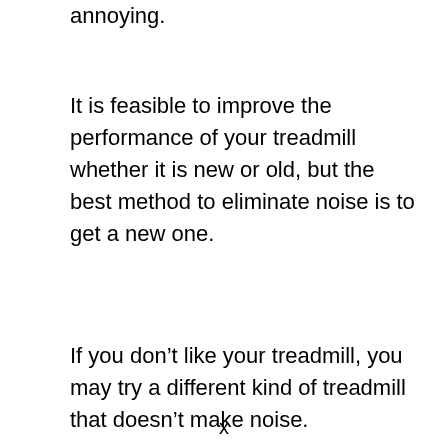annoying.
It is feasible to improve the performance of your treadmill whether it is new or old, but the best method to eliminate noise is to get a new one.
If you don’t like your treadmill, you may try a different kind of treadmill that doesn’t make noise.
x